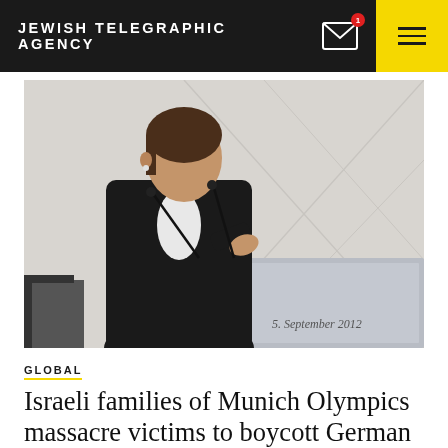JEWISH TELEGRAPHIC AGENCY
[Figure (photo): A woman speaking at a podium with two microphones. Text on the podium reads '5. September 2012'. She is wearing a dark blazer and gesturing with her hand.]
5. September 2012
GLOBAL
Israeli families of Munich Olympics massacre victims to boycott German ceremony marking 50th